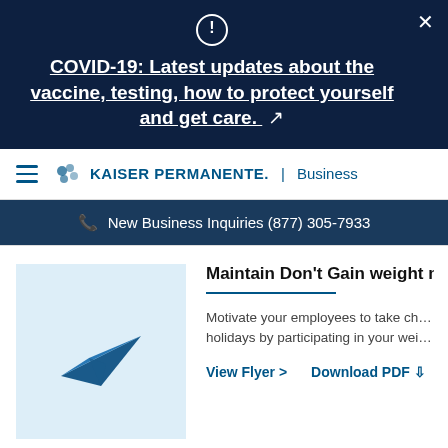COVID-19: Latest updates about the vaccine, testing, how to protect yourself and get care. ↗
KAISER PERMANENTE. | Business
New Business Inquiries (877) 305-7933
[Figure (illustration): Paper airplane icon on light blue background]
Maintain Don't Gain weight ma…
Motivate your employees to take ch… holidays by participating in your wei…
View Flyer >    Download PDF ⬇